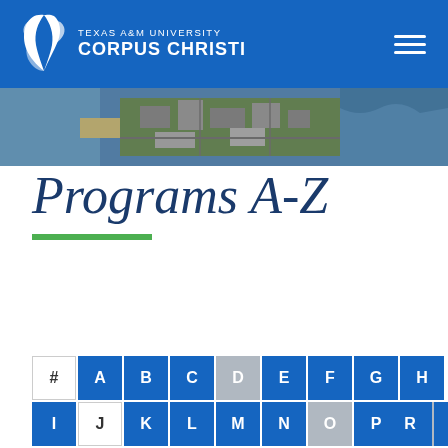Texas A&M University Corpus Christi
[Figure (photo): Aerial photograph of Texas A&M University Corpus Christi campus showing buildings, parking lots, and surrounding water/coastline]
Programs A-Z
PROGRAMS A-Z | MORE
# A B C D E F G H I J K L M N O P Q R S